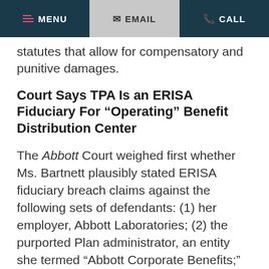MENU  EMAIL  CALL
statutes that allow for compensatory and punitive damages.
Court Says TPA Is an ERISA Fiduciary For “Operating” Benefit Distribution Center
The Abbott Court weighed first whether Ms. Bartnett plausibly stated ERISA fiduciary breach claims against the following sets of defendants: (1) her employer, Abbott Laboratories; (2) the purported Plan administrator, an entity she termed “Abbott Corporate Benefits;” (3) the Plan itself; (4) Abbott employee, Marlon Sullivan; and (5) the Plan’s “contract administrator,” Alight